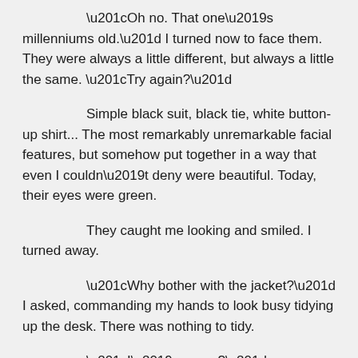“Oh no. That one’s millenniums old.” I turned now to face them. They were always a little different, but always a little the same. “Try again?”
Simple black suit, black tie, white button-up shirt… The most remarkably unremarkable facial features, but somehow put together in a way that even I couldn’t deny were beautiful. Today, their eyes were green.
They caught me looking and smiled. I turned away.
“Why bother with the jacket?” I asked, commanding my hands to look busy tidying up the desk. There was nothing to tidy.
“I’m sorry?”